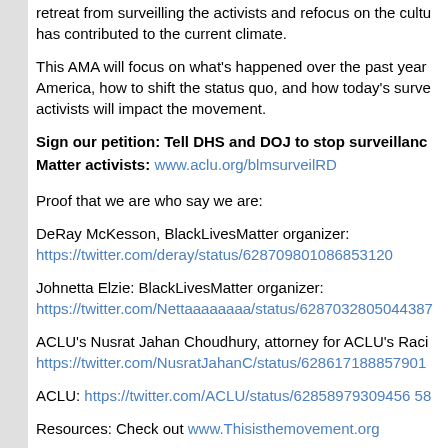retreat from surveilling the activists and refocus on the cultu has contributed to the current climate.
This AMA will focus on what's happened over the past year America, how to shift the status quo, and how today's surve activists will impact the movement.
Sign our petition: Tell DHS and DOJ to stop surveillanc Matter activists: www.aclu.org/blmsurveilRD
Proof that we are who say we are:
DeRay McKesson, BlackLivesMatter organizer: https://twitter.com/deray/status/628709801086853120
Johnetta Elzie: BlackLivesMatter organizer: https://twitter.com/Nettaaaaaaaa/status/6287032805044387
ACLU's Nusrat Jahan Choudhury, attorney for ACLU's Raci https://twitter.com/NusratJahanC/status/628617188857901
ACLU: https://twitter.com/ACLU/status/628589793094565 8
Resources: Check out www.Thisisthemovement.org
NY Times feature on Deray and Netta: